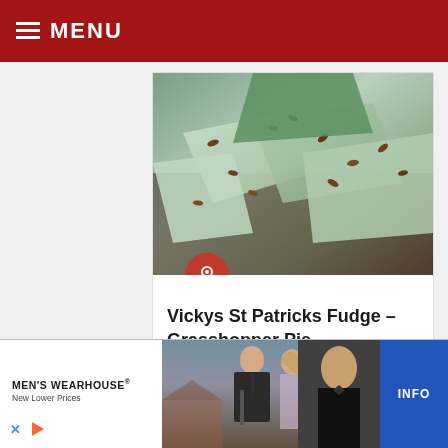MENU
[Figure (photo): Close-up photo of green mint fudge pieces with chocolate toffee bits scattered on top, St. Patricks themed]
Vickys St Patricks Fudge – Grasshopper Pie ...
17/12/2020  0
[Figure (photo): Partial view of a second recipe card image, partially cut off at bottom]
[Figure (photo): Advertisement for Men's Wearhouse showing couple in formal wear. Text: MEN'S WEARHOUSE New Lower Prices. INFO button.]